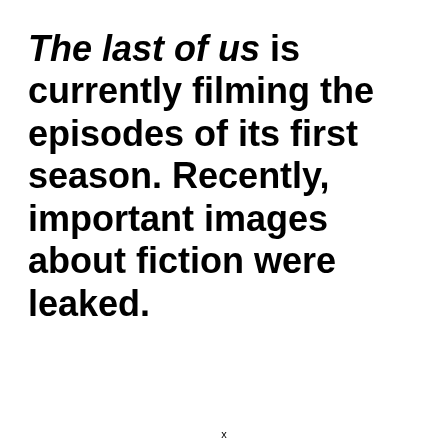The last of us is currently filming the episodes of its first season. Recently, important images about fiction were leaked.
x